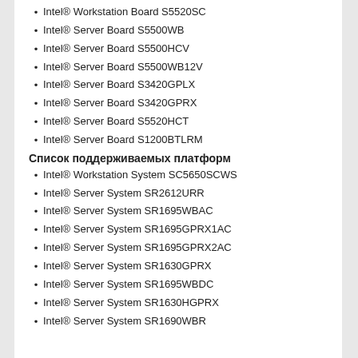Intel® Workstation Board S5520SC
Intel® Server Board S5500WB
Intel® Server Board S5500HCV
Intel® Server Board S5500WB12V
Intel® Server Board S3420GPLX
Intel® Server Board S3420GPRX
Intel® Server Board S5520HCT
Intel® Server Board S1200BTLRM
Список поддерживаемых платформ
Intel® Workstation System SC5650SCWS
Intel® Server System SR2612URR
Intel® Server System SR1695WBAC
Intel® Server System SR1695GPRX1AC
Intel® Server System SR1695GPRX2AC
Intel® Server System SR1630GPRX
Intel® Server System SR1695WBDC
Intel® Server System SR1630HGPRX
Intel® Server System SR1690WBR